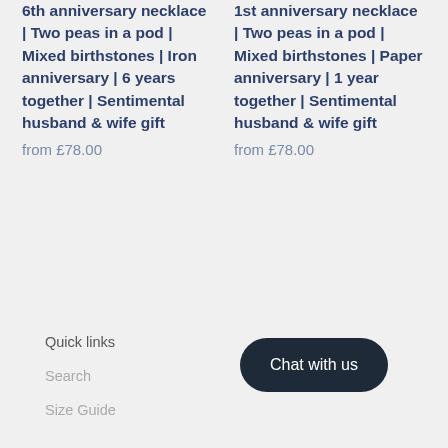6th anniversary necklace | Two peas in a pod | Mixed birthstones | Iron anniversary | 6 years together | Sentimental husband & wife gift
from £78.00
1st anniversary necklace | Two peas in a pod | Mixed birthstones | Paper anniversary | 1 year together | Sentimental husband & wife gift
from £78.00
Quick links
Search
Size Guide
Chat with us